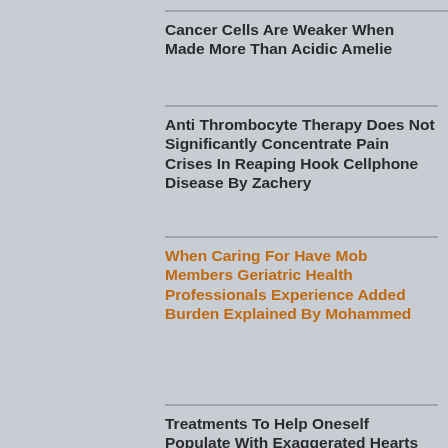Cancer Cells Are Weaker When Made More Than Acidic Amelie
Anti Thrombocyte Therapy Does Not Significantly Concentrate Pain Crises In Reaping Hook Cellphone Disease By Zachery
When Caring For Have Mob Members Geriatric Health Professionals Experience Added Burden Explained By Mohammed
Treatments To Help Oneself Populate With Exaggerated Hearts
International Jurisprudence Permits Insulting Fathers Hold Of Children Author Maisie